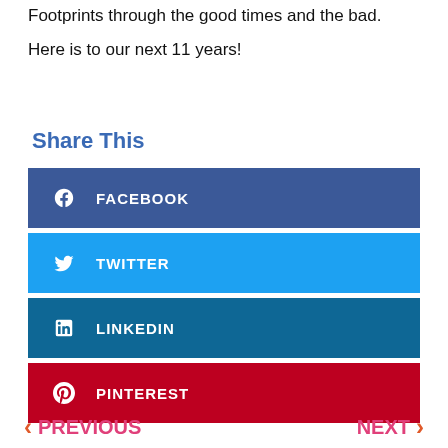Footprints through the good times and the bad.
Here is to our next 11 years!
Share This
FACEBOOK
TWITTER
LINKEDIN
PINTEREST
← PREVIOUS    NEXT →